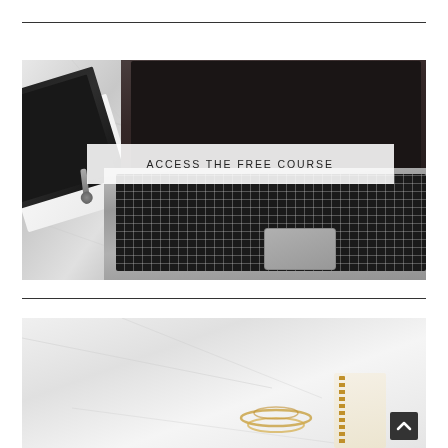[Figure (photo): Overhead/flat-lay photo of an open laptop with a black notebook and tassel on a white marble surface, with a semi-transparent white overlay button reading 'ACCESS THE FREE COURSE' in spaced uppercase letters]
[Figure (photo): Partial bottom image showing white marble surface with gold spiral notebook and decorative items, partially cropped at bottom of page. A dark up-arrow chevron icon is visible at the lower right.]